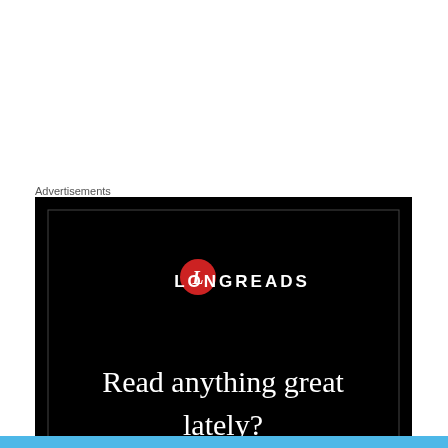Advertisements
[Figure (illustration): Longreads advertisement with black background, red circular logo with white L, brand name LONGREADS in white bold text, and tagline 'Read anything great lately?' in white serif font]
Melinda on January 8, 2012 at 1:39 pm
Privacy & Cookies: This site uses cookies. By continuing to use this website, you agree to their use.
To find out more, including how to control cookies, see here: Cookie Policy
Close and accept